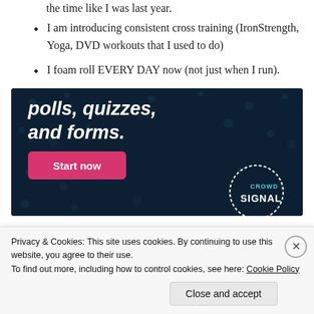the time like I was last year.
I am introducing consistent cross training (IronStrength, Yoga, DVD workouts that I used to do)
I foam roll EVERY DAY now (not just when I run).
[Figure (screenshot): Dark navy advertisement banner for Crowdsignal showing text 'polls, quizzes, and forms.' with a pink 'Start now' button and the Crowdsignal logo circle in the bottom right.]
Privacy & Cookies: This site uses cookies. By continuing to use this website, you agree to their use.
To find out more, including how to control cookies, see here: Cookie Policy
Close and accept